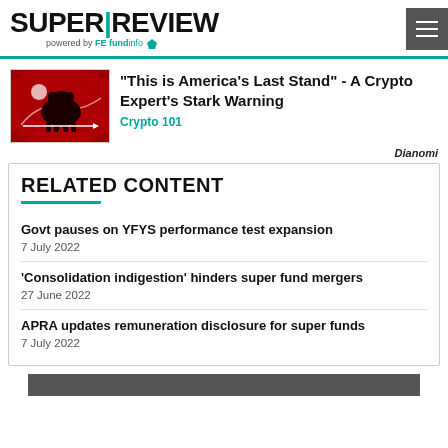SUPER|REVIEW powered by FE fundinfo
[Figure (photo): Red background image with a bear silhouette and downward trend line, used as a thumbnail for a crypto article]
"This is America's Last Stand" - A Crypto Expert's Stark Warning
Crypto 101
Dianomi
RELATED CONTENT
Govt pauses on YFYS performance test expansion
7 July 2022
'Consolidation indigestion' hinders super fund mergers
27 June 2022
APRA updates remuneration disclosure for super funds
7 July 2022